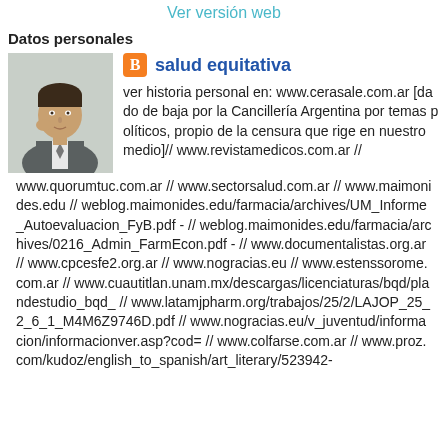Ver versión web
Datos personales
[Figure (photo): Profile photo of a man in a suit with his hand near his face]
salud equitativa
ver historia personal en: www.cerasale.com.ar [dado de baja por la Cancillería Argentina por temas políticos, propio de la censura que rige en nuestro medio]// www.revistamedicos.com.ar // www.quorumtuc.com.ar // www.sectorsalud.com.ar // www.maimonides.edu // weblog.maimonides.edu/farmacia/archives/UM_Informe_Autoevaluacion_FyB.pdf - // weblog.maimonides.edu/farmacia/archives/0216_Admin_FarmEcon.pdf - // www.documentalistas.org.ar // www.cpcesfe2.org.ar // www.nogracias.eu // www.estenssorome.com.ar // www.cuautitlan.unam.mx/descargas/licenciaturas/bqd/plandestudio_bqd_ // www.latamjpharm.org/trabajos/25/2/LAJOP_25_2_6_1_M4M6Z9746D.pdf // www.nogracias.eu/v_juventud/informacion/informacionver.asp?cod= // www.colfarse.com.ar // www.proz.com/kudoz/english_to_spanish/art_literary/523942-